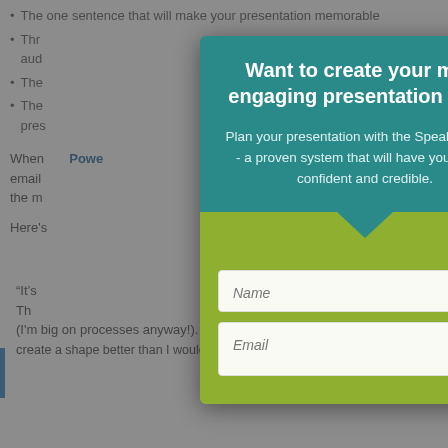The one sentence that will make your presentation memorable
Three things that will keep your audience engaged
The ...
The ... your presentation
When PowerPoint ... email ... and the m... tter:
Here's ...
“It’s ... away. Th... r me (I'm big on processes anyway!). It was just so quick to create a shape better than I would have gotten to in...
[Figure (screenshot): Modal popup overlay on a webpage background. The modal has a teal header with bold white text reading 'Want to create your most engaging presentation ever?' and body text 'Plan your presentation with the SpeakerMap™ - a proven system that will have you feeling confident and credible.' Below is a green form section with Name and Email input fields. A close button (X) is in the top right corner of the modal.]